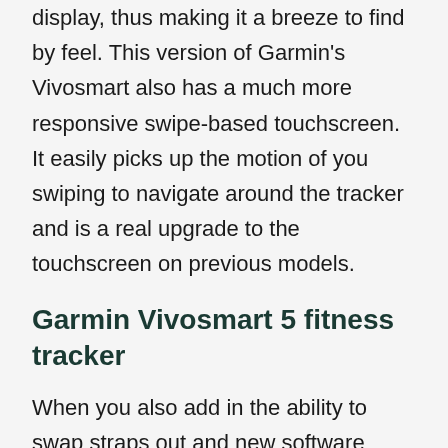display, thus making it a breeze to find by feel. This version of Garmin's Vivosmart also has a much more responsive swipe-based touchscreen. It easily picks up the motion of you swiping to navigate around the tracker and is a real upgrade to the touchscreen on previous models.
Garmin Vivosmart 5 fitness tracker
When you also add in the ability to swap straps out and new software details (like abnormal heat rate notifications and personal safety features), it is easy to see how this model differs from